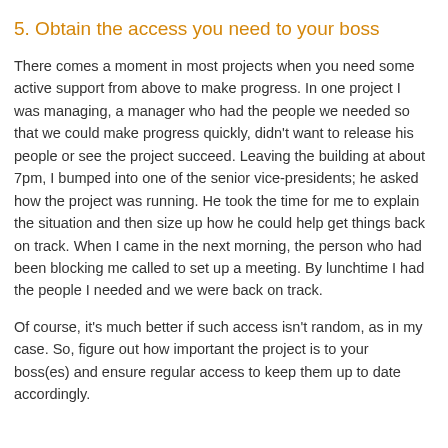5. Obtain the access you need to your boss
There comes a moment in most projects when you need some active support from above to make progress. In one project I was managing, a manager who had the people we needed so that we could make progress quickly, didn't want to release his people or see the project succeed. Leaving the building at about 7pm, I bumped into one of the senior vice-presidents; he asked how the project was running. He took the time for me to explain the situation and then size up how he could help get things back on track. When I came in the next morning, the person who had been blocking me called to set up a meeting. By lunchtime I had the people I needed and we were back on track.
Of course, it's much better if such access isn't random, as in my case. So, figure out how important the project is to your boss(es) and ensure regular access to keep them up to date accordingly.